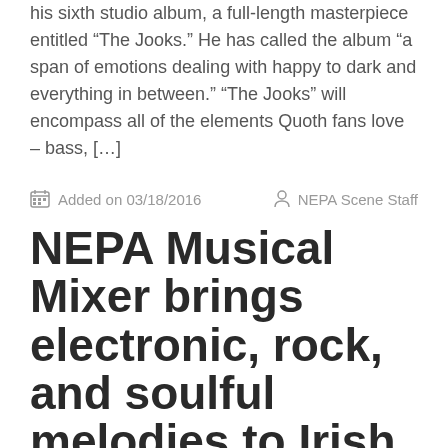his sixth studio album, a full-length masterpiece entitled “The Jooks.” He has called the album “a span of emotions dealing with happy to dark and everything in between.” “The Jooks” will encompass all of the elements Quoth fans love – bass, […]
Added on 03/18/2016   NEPA Scene Staff
NEPA Musical Mixer brings electronic, rock, and soulful melodies to Irish Wolf Pub in Scranton on